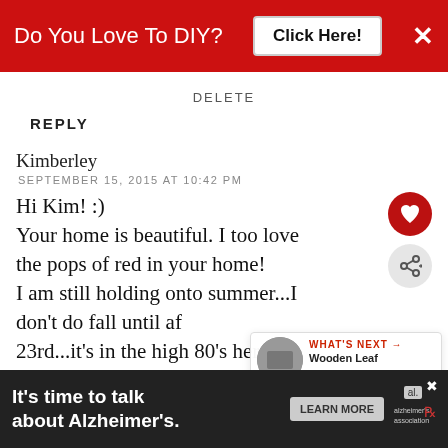[Figure (screenshot): Red advertisement banner at top: 'Do You Love To DIY? Click Here!' with close X button]
DELETE
REPLY
Kimberley
SEPTEMBER 15, 2015 AT 10:42 PM
Hi Kim! :) Your home is beautiful. I too love the pops of red in your home! I am still holding onto summer...I don't do fall until af 23rd...it's in the high 80's here in Illinois this week, so summer is still
[Figure (infographic): What's Next box with circular thumbnail image and text: 'WHAT'S NEXT → Wooden Leaf Banner DIY...']
[Figure (screenshot): Bottom ad banner: 'It's time to talk about Alzheimer's.' with LEARN MORE button and Alzheimer's Association logo]